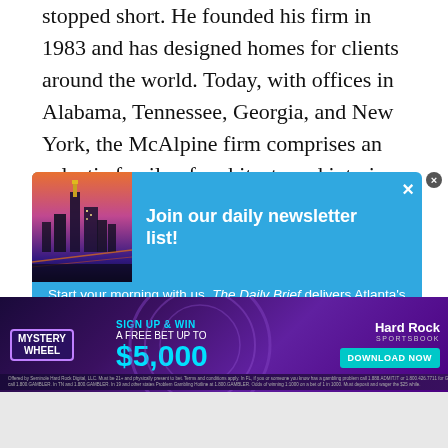stopped short. He founded his firm in 1983 and has designed homes for clients around the world. Today, with offices in Alabama, Tennessee, Georgia, and New York, the McAlpine firm comprises an eclectic family of architects and interior designers. Bobby McAlpine has authored four books, including the bestselling 2010 The Home Within Us and 2017's
[Figure (screenshot): Newsletter signup overlay with blue background, city skyline image on left, title 'Join our daily newsletter list!' and body text 'Start your morning with us. The Daily Brief delivers Atlanta's...' with a close X button]
[Figure (screenshot): Hard Rock Sportsbook advertisement banner with purple background, Mystery Wheel promotion, Sign Up & Win a Free Bet Up To $5,000, Download Now button]